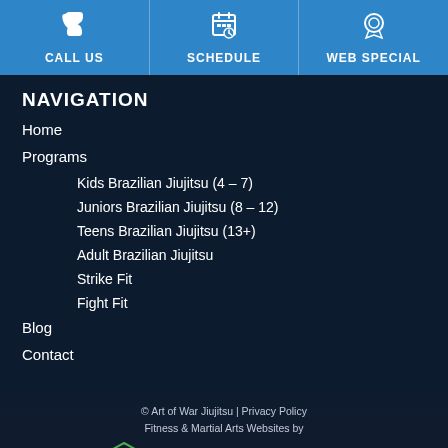CALL US | SCHEDULE | WEB SPECIAL
NAVIGATION
Home
Programs
Kids Brazilian Jiujitsu (4 – 7)
Juniors Brazilian Jiujitsu (8 – 12)
Teens Brazilian Jiujitsu (13+)
Adult Brazilian Jiujitsu
Strike Fit
Fight Fit
Blog
Contact
© Art of War Jiujitsu | Privacy Policy
Fitness & Martial Arts Websites by
[Figure (logo): Market Muscles logo with hexagon icon and MARKET MUSCLES text]